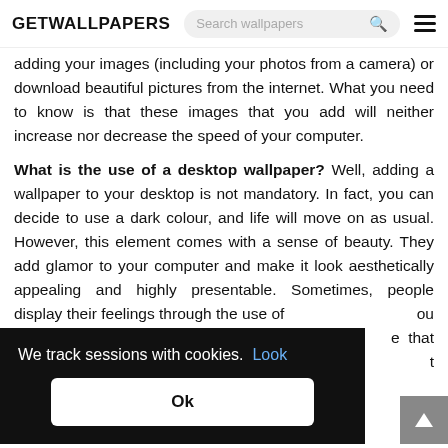GETWALLPAPERS
adding your images (including your photos from a camera) or download beautiful pictures from the internet. What you need to know is that these images that you add will neither increase nor decrease the speed of your computer.
What is the use of a desktop wallpaper? Well, adding a wallpaper to your desktop is not mandatory. In fact, you can decide to use a dark colour, and life will move on as usual. However, this element comes with a sense of beauty. They add glamor to your computer and make it look aesthetically appealing and highly presentable. Sometimes, people display their feelings through the use of... you can add an ...e that means ...a reminder of ...t said, des...ifferent things
We track sessions with cookies.  Look
Ok